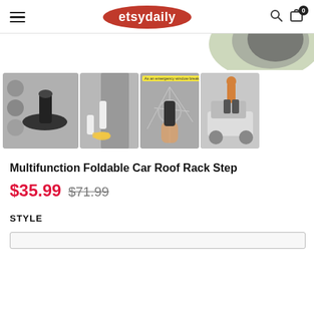etsydaily
[Figure (photo): Partial hero image showing a circular cropped photo of a car roof area with greenery]
[Figure (photo): Product image gallery row: (1) main product image showing foldable car roof rack step tool with multiple use case insets, (2) person stepping onto car door with foot on step, (3) emergency window breaker use labeled 'As an emergency window breaker', (4) man climbing onto SUV roof using the step]
Multifunction Foldable Car Roof Rack Step
$35.99 $71.99
STYLE